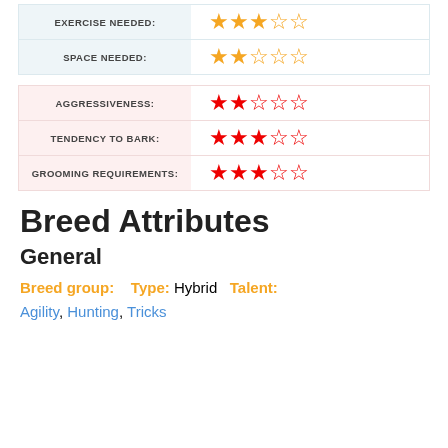| EXERCISE NEEDED: | ★★★☆☆ |
| --- | --- |
| SPACE NEEDED: | ★★☆☆☆ |
| AGGRESSIVENESS: | ★★☆☆☆ |
| --- | --- |
| TENDENCY TO BARK: | ★★★☆☆ |
| GROOMING REQUIREMENTS: | ★★★☆☆ |
Breed Attributes
General
Breed group:   Type: Hybrid   Talent: Agility, Hunting, Tricks